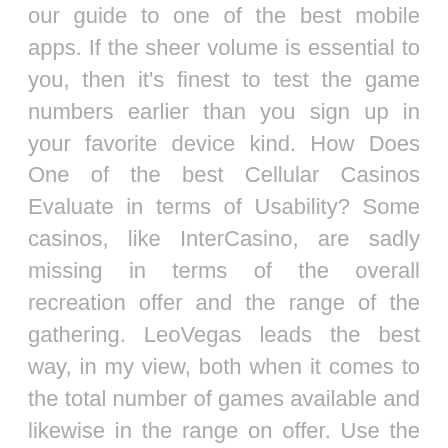our guide to one of the best mobile apps. If the sheer volume is essential to you, then it's finest to test the game numbers earlier than you sign up in your favorite device kind. How Does One of the best Cellular Casinos Evaluate in terms of Usability? Some casinos, like InterCasino, are sadly missing in terms of the overall recreation offer and the range of the gathering. LeoVegas leads the best way, in my view, both when it comes to the total number of games available and likewise in the range on offer. Use the bonus code 'LUCKYRED400' when claiming this offer. You don't require any bonus codes for claiming the promotional presents here. Even LeoVegas, with its enormous number of games, still provides over a hundred